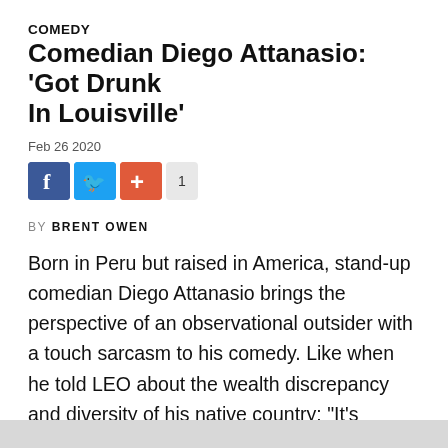COMEDY
Comedian Diego Attanasio: ‘Got Drunk In Louisville’
Feb 26 2020
[Figure (other): Social sharing buttons: Facebook, Twitter, Plus, and share count of 1]
BY BRENT OWEN
Born in Peru but raised in America, stand-up comedian Diego Attanasio brings the perspective of an observational outsider with a touch sarcasm to his comedy. Like when he told LEO about the wealth discrepancy and diversity of his native country: “It’s basically like Detroit with no Black people.” Catch Attanasio Saturday night when he headlines Comedy by